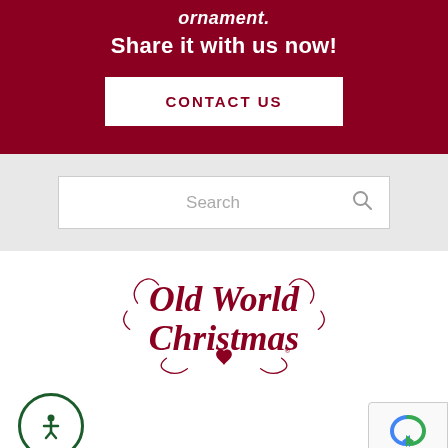ornament.
Share it with us now!
CONTACT US
Search
[Figure (logo): Old World Christmas decorative script logo in dark red/maroon with heart motif]
Login